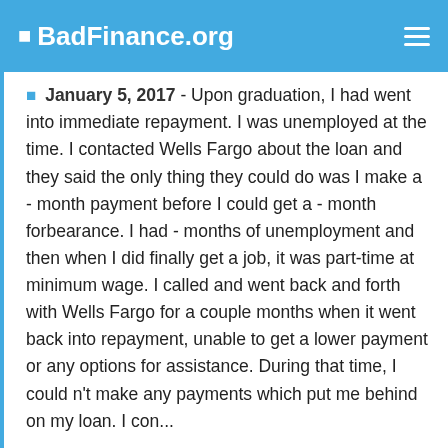☰ BadFinance.org
● January 5, 2017 - Upon graduation, I had went into immediate repayment. I was unemployed at the time. I contacted Wells Fargo about the loan and they said the only thing they could do was I make a - month payment before I could get a - month forbearance. I had - months of unemployment and then when I did finally get a job, it was part-time at minimum wage. I called and went back and forth with Wells Fargo for a couple months when it went back into repayment, unable to get a lower payment or any options for assistance. During that time, I could n't make any payments which put me behind on my loan. I con...